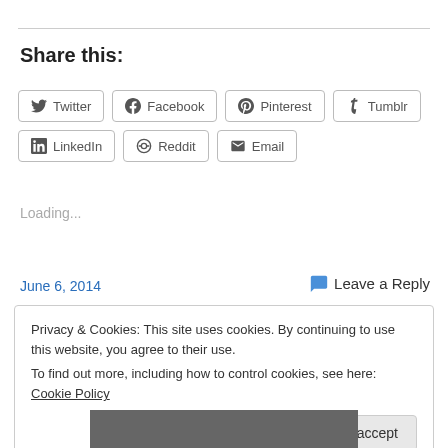Share this:
Twitter  Facebook  Pinterest  Tumblr  LinkedIn  Reddit  Email
Loading...
June 6, 2014
💬 Leave a Reply
Privacy & Cookies: This site uses cookies. By continuing to use this website, you agree to their use.
To find out more, including how to control cookies, see here: Cookie Policy
Close and accept
[Figure (photo): Partial photo visible at bottom of page]